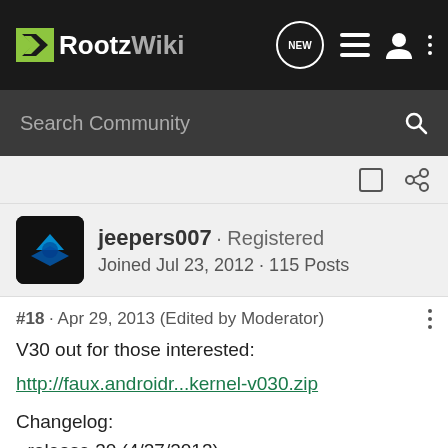RootzWiki
Search Community
jeepers007 · Registered
Joined Jul 23, 2012 · 115 Posts
#18 · Apr 29, 2013 (Edited by Moderator)
V30 out for those interested:
http://faux.androidr...kernel-v030.zip
Changelog:
- release 30 (4/27/2013)
* updated to kernel.org 3.0.75
* added overall cpu freq stats for dual core